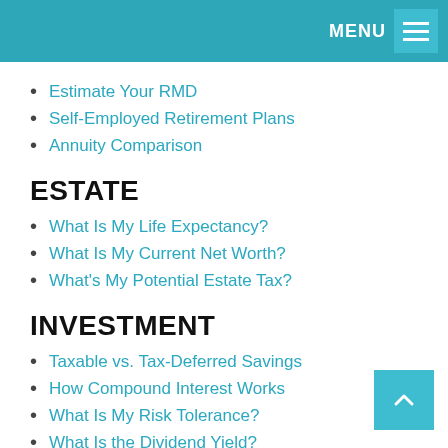MENU
Estimate Your RMD
Self-Employed Retirement Plans
Annuity Comparison
ESTATE
What Is My Life Expectancy?
What Is My Current Net Worth?
What's My Potential Estate Tax?
INVESTMENT
Taxable vs. Tax-Deferred Savings
How Compound Interest Works
What Is My Risk Tolerance?
What Is the Dividend Yield?